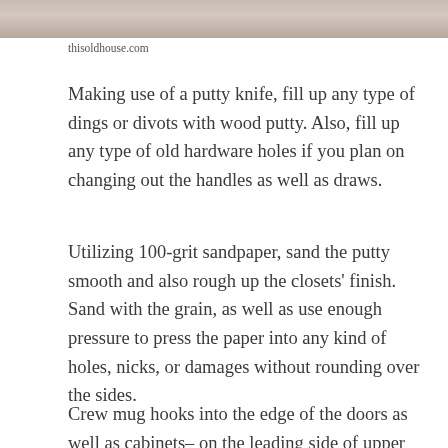[Figure (photo): Partial photo of a hand using a tool, shown at the top of the page cropped]
thisoldhouse.com
Making use of a putty knife, fill up any type of dings or divots with wood putty. Also, fill up any type of old hardware holes if you plan on changing out the handles as well as draws.
Utilizing 100-grit sandpaper, sand the putty smooth and also rough up the closets' finish. Sand with the grain, as well as use enough pressure to press the paper into any kind of holes, nicks, or damages without rounding over the sides.
Crew mug hooks into the edge of the doors as well as cabinets– on the leading side of upper cabinets and on